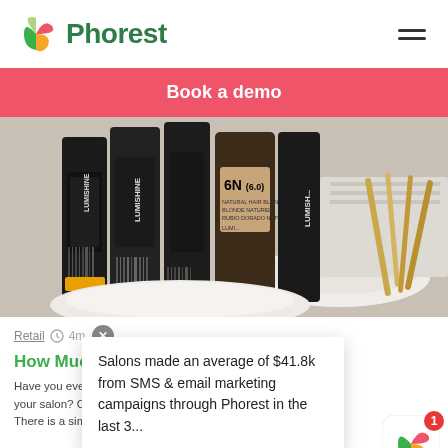[Figure (logo): Phorest logo with colorful P icon and green Phorest wordmark, plus hamburger menu icon on the right]
Book a demo
[Figure (photo): Close-up photo of Lumishine hair color product bottles on a white surface with white towels in the background]
Retail
How Much ...ck?
Have you ever... duc... your salon? Or... There is a simple answer. It's because [...]
Salons made an average of $41.8k from SMS & email marketing campaigns through Phorest in the last 3...